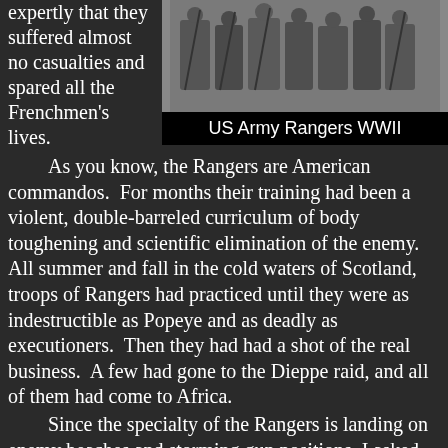expertly that they suffered almost no casualties and spared all the Frenchmen's lives.
[Figure (photo): Black and white photograph of US Army Rangers in WWII, group of soldiers with weapons]
US Army Rangers WWII
As you know, the Rangers are American commandos. For months their training had been a violent, double-barreled curriculum of body toughening and scientific elimination of the enemy. All summer and fall in the cold waters of Scotland, troops of Rangers had practiced until they were as indestructible as Popeye and as deadly as executioners. Then they had had a shot of the real business. A few had gone to the Dieppe raid, and all of them had come to Africa.
Since the specialty of the Rangers is landing on enemy beaches and storming gun positions, I asked one of them, "Do you suppose you'll just have to sit here until we invade another continent?"
"My God, I hope not! It might be too long a wait," was